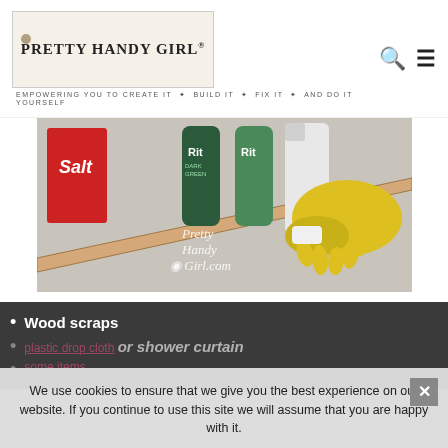Pretty Handy Girl® — EMPOWERING YOU TO CREATE IT ✦ BUILD IT ✦ FIX IT ✦ AND DO IT YOURSELF
[Figure (photo): Photo of DIY supplies on a workbench: salt box, Rit dye bottles (dark green and light green), yellow rubber gloves, a wooden board, and spray bottles on a textured surface. Watermark reads 'Pretty Handy Girl.com']
Wood scraps
[partially obscured by cookie banner] or shower curtain
[partially obscured]
We use cookies to ensure that we give you the best experience on our website. If you continue to use this site we will assume that you are happy with it.